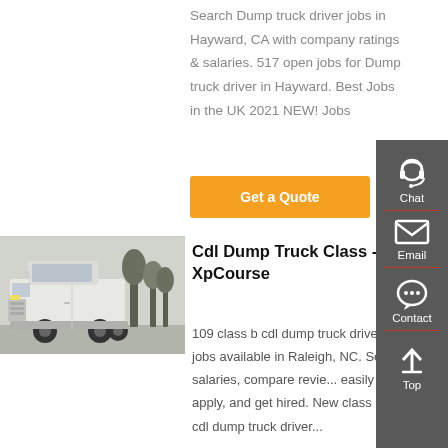Search Dump truck driver jobs in Hayward, CA with company ratings & salaries. 517 open jobs for Dump truck driver in Hayward. Best Jobs in the UK 2021 NEW! Jobs
Get a Quote
[Figure (photo): White semi-truck cab parked outdoors with trees in background]
Cdl Dump Truck Class - XpCourse
109 class b cdl dump truck driver jobs available in Raleigh, NC. See salaries, compare revie... easily apply, and get hired. New class b cdl dump truck driver jobs...